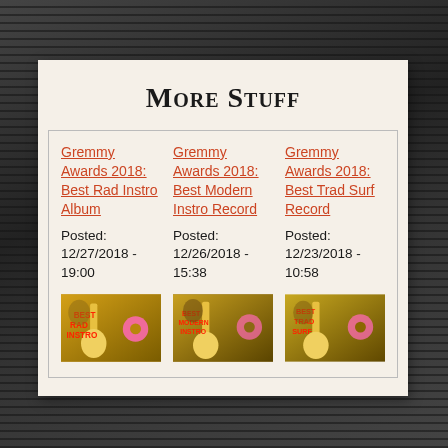More Stuff
Gremmy Awards 2018: Best Rad Instro Album
Posted: 12/27/2018 - 19:00
[Figure (photo): Best Rad Instro award image with yellow guitar and pink donut]
Gremmy Awards 2018: Best Modern Instro Record
Posted: 12/26/2018 - 15:38
[Figure (photo): Best Modern Instro award image with yellow guitar]
Gremmy Awards 2018: Best Trad Surf Record
Posted: 12/23/2018 - 10:58
[Figure (photo): Best Trad Surf award image with yellow guitar and pink donut]